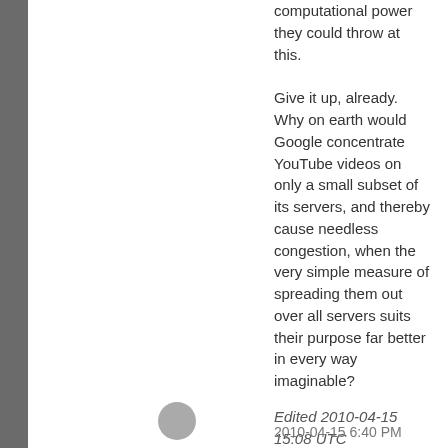computational power they could throw at this.
Give it up, already. Why on earth would Google concentrate YouTube videos on only a small subset of its servers, and thereby cause needless congestion, when the very simple measure of spreading them out over all servers suits their purpose far better in every way imaginable?
Edited 2010-04-15 15:08 UTC
2010-04-15 6:40 PM